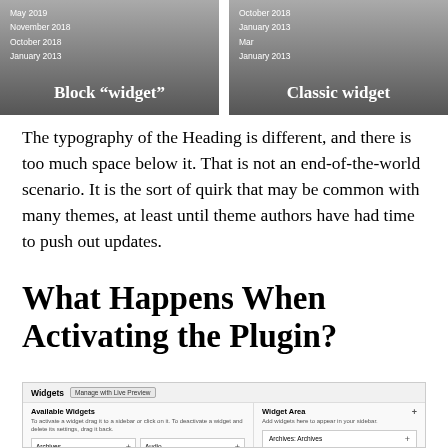[Figure (screenshot): Two side-by-side screenshots showing archive widget lists. Left labeled 'Block widget', right labeled 'Classic widget'. Both show dates: May 2019, November 2018, October 2018, January 2013.]
The typography of the Heading is different, and there is too much space below it. That is not an end-of-the-world scenario. It is the sort of quirk that may be common with many themes, at least until theme authors have had time to push out updates.
What Happens When Activating the Plugin?
[Figure (screenshot): WordPress Widgets admin screen showing Available Widgets panel with Archives and Audio listed, and Widget Area panel with Archives: Archives listed.]